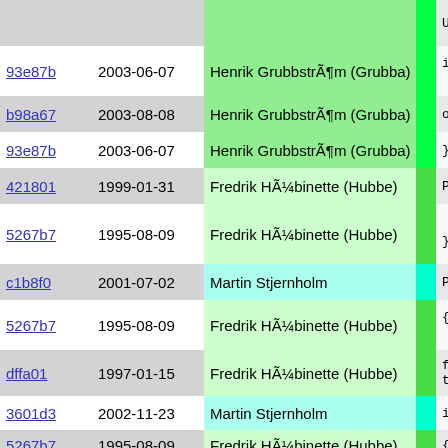| hash | date | author | bar | code |
| --- | --- | --- | --- | --- |
|  |  |  |  | UNSETJMP |
| 93e87b | 2003-06-07 | Henrik Grubbström (Grubba) | | | if (use_
  Pike_c |
| b98a67 | 2003-08-08 | Henrik Grubbström (Grubba) | | | o->pro |
| 93e87b | 2003-06-07 | Henrik Grubbström (Grubba) | | | } |
| 421801 | 1999-01-31 | Fredrik Hübinette (Hubbe) | | | POP_PIKE |
| 5267b7 | 1995-08-09 | Fredrik Hübinette (Hubbe) | | | return r
} |
| c1b8f0 | 2001-07-02 | Martin Stjernholm | | | PMOD_EXPOR |
| 5267b7 | 1995-08-09 | Fredrik Hübinette (Hubbe) | | | {
  JMP_BUF |
| dffa01 | 1997-01-15 | Fredrik Hübinette (Hubbe) | | | free_sva
throw_va |
| 3601d3 | 2002-11-23 | Martin Stjernholm | | | if(SETJM |
| 5267b7 | 1995-08-09 | Fredrik Hübinette (Hubbe) | | | { |
| c1b8f0 | 2001-07-02 | Martin Stjernholm | | | if(han |
| 3601d3 | 2002-11-23 | Martin Stjernholm | | | push_i |